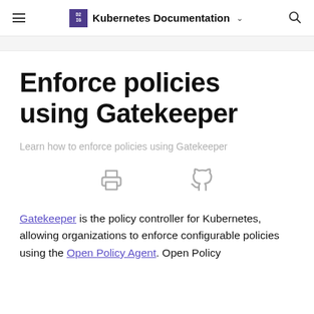Kubernetes Documentation
Enforce policies using Gatekeeper
Learn how to enforce policies using Gatekeeper
[Figure (illustration): Print icon and GitHub icon side by side]
Gatekeeper is the policy controller for Kubernetes, allowing organizations to enforce configurable policies using the Open Policy Agent. Open Policy